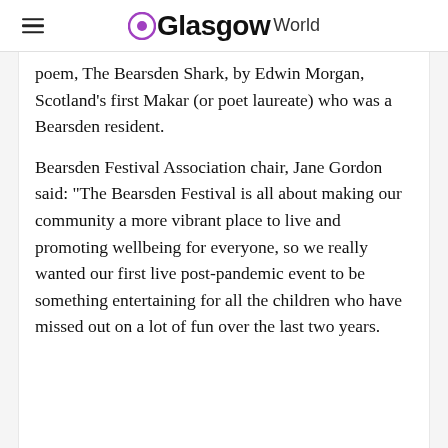Glasgow World
poem, The Bearsden Shark, by Edwin Morgan, Scotland's first Makar (or poet laureate) who was a Bearsden resident.
Bearsden Festival Association chair, Jane Gordon said: “The Bearsden Festival is all about making our community a more vibrant place to live and promoting wellbeing for everyone, so we really wanted our first live post-pandemic event to be something entertaining for all the children who have missed out on a lot of fun over the last two years.